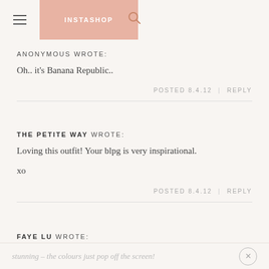INSTASHOP
ANONYMOUS WROTE:
Oh.. it's Banana Republic..
POSTED 8.4.12  |  REPLY
THE PETITE WAY WROTE:
Loving this outfit! Your blpg is very inspirational.

xo
POSTED 8.4.12  |  REPLY
FAYE LU WROTE:
stunning – the colours just pop off the screen!